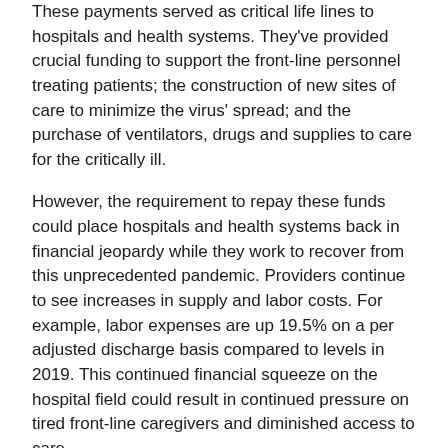These payments served as critical life lines to hospitals and health systems. They've provided crucial funding to support the front-line personnel treating patients; the construction of new sites of care to minimize the virus' spread; and the purchase of ventilators, drugs and supplies to care for the critically ill.
However, the requirement to repay these funds could place hospitals and health systems back in financial jeopardy while they work to recover from this unprecedented pandemic. Providers continue to see increases in supply and labor costs. For example, labor expenses are up 19.5% on a per adjusted discharge basis compared to levels in 2019. This continued financial squeeze on the hospital field could result in continued pressure on tired front-line caregivers and diminished access to care.
AHA Take
The AHA urges Congress to provide relief for all hospitals with accelerated/advance payment program loans, including acute care hospitals, CAHs, children's hospitals, cancer hospitals, long-term care hospitals, inpatient rehabilitation hospitals, inpatient